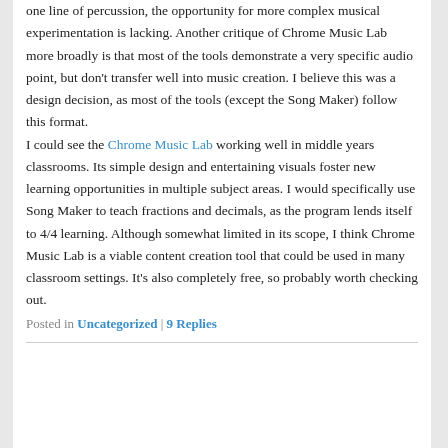one line of percussion, the opportunity for more complex musical experimentation is lacking. Another critique of Chrome Music Lab more broadly is that most of the tools demonstrate a very specific audio point, but don't transfer well into music creation. I believe this was a design decision, as most of the tools (except the Song Maker) follow this format.
I could see the Chrome Music Lab working well in middle years classrooms. Its simple design and entertaining visuals foster new learning opportunities in multiple subject areas. I would specifically use Song Maker to teach fractions and decimals, as the program lends itself to 4/4 learning. Although somewhat limited in its scope, I think Chrome Music Lab is a viable content creation tool that could be used in many classroom settings. It's also completely free, so probably worth checking out.
Posted in Uncategorized | 9 Replies